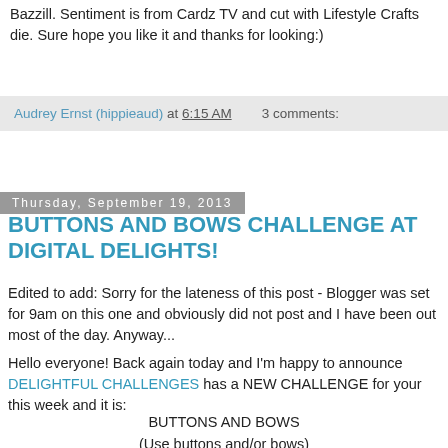Bazzill.  Sentiment is from Cardz TV and cut with Lifestyle Crafts die.  Sure hope you like it and thanks for looking:)
Audrey Ernst (hippieaud) at 6:15 AM    3 comments:
Thursday, September 19, 2013
BUTTONS AND BOWS CHALLENGE AT DIGITAL DELIGHTS!
Edited to add:  Sorry for the lateness of this post - Blogger was set for 9am on this one and obviously did not post and I have been out most of the day.  Anyway...
Hello everyone!  Back again today and I'm happy to announce DELIGHTFUL CHALLENGES has a NEW CHALLENGE for your this week and it is:
BUTTONS AND BOWS
(Use buttons and/or bows)